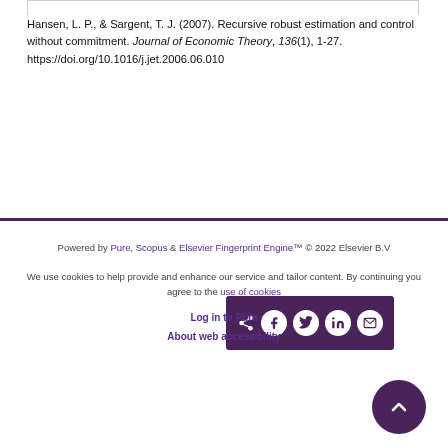Hansen, L. P., & Sargent, T. J. (2007). Recursive robust estimation and control without commitment. Journal of Economic Theory, 136(1), 1-27. https://doi.org/10.1016/j.jet.2006.06.010
[Figure (other): Share buttons bar with social media icons: share, Facebook, Twitter, LinkedIn, email on dark purple background]
Powered by Pure, Scopus & Elsevier Fingerprint Engine™ © 2022 Elsevier B.V

We use cookies to help provide and enhance our service and tailor content. By continuing you agree to the use of cookies

Log in to Pure

About web accessibility